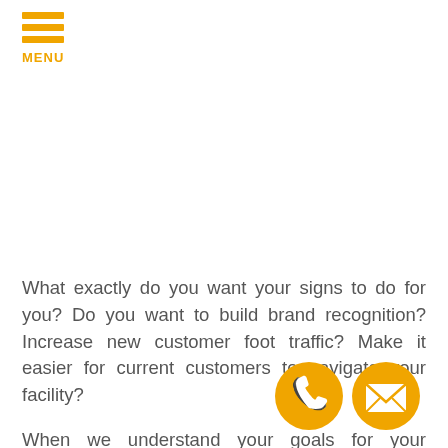MENU
What exactly do you want your signs to do for you? Do you want to build brand recognition? Increase new customer foot traffic? Make it easier for current customers to navigate your facility?
When we understand your goals for your signage, we are able to develop custom sign packages designed to perfectly meet your needs. Vehicle wraps, storefront
[Figure (illustration): Orange phone icon circle button]
[Figure (illustration): Orange email/envelope icon circle button]